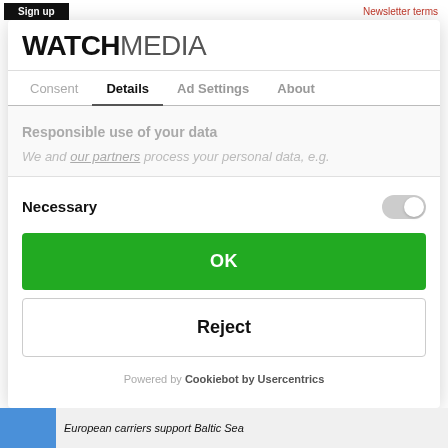Sign up | Newsletter terms
WATCHMEDIA
Consent  Details  Ad Settings  About
Responsible use of your data
We and our partners process your personal data, e.g.
Necessary
OK
Reject
Powered by Cookiebot by Usercentrics
European carriers support Baltic Sea